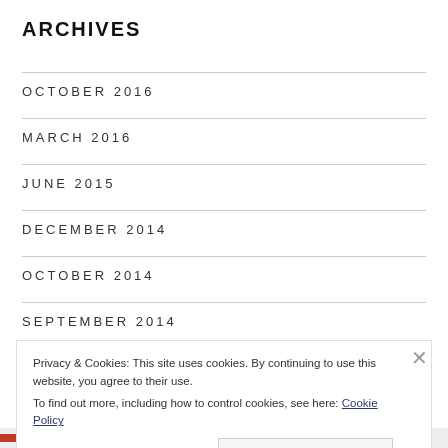ARCHIVES
OCTOBER 2016
MARCH 2016
JUNE 2015
DECEMBER 2014
OCTOBER 2014
SEPTEMBER 2014
Privacy & Cookies: This site uses cookies. By continuing to use this website, you agree to their use.
To find out more, including how to control cookies, see here: Cookie Policy
Close and accept